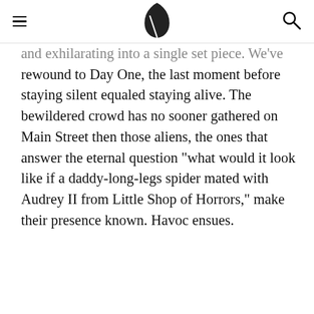≡ [leaf logo] [search icon]
and exhilarating into a single set piece. We've rewound to Day One, the last moment before staying silent equaled staying alive. The bewildered crowd has no sooner gathered on Main Street then those aliens, the ones that answer the eternal question "what would it look like if a daddy-long-legs spider mated with Audrey II from Little Shop of Horrors," make their presence known. Havoc ensues.